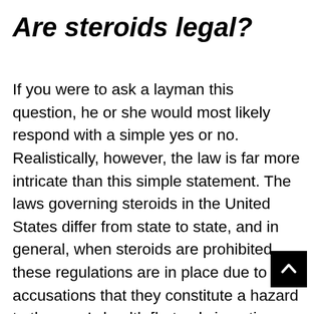Are steroids legal?
If you were to ask a layman this question, he or she would most likely respond with a simple yes or no. Realistically, however, the law is far more intricate than this simple statement. The laws governing steroids in the United States differ from state to state, and in general, when steroids are prohibited, these regulations are in place due to accusations that they constitute a hazard to the user’s health [but only in nations with very active governmental drug enforcement organizations.] Continue reading for an explanation of what we mean.